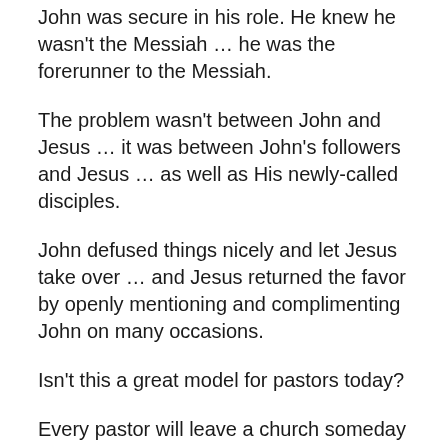John was secure in his role. He knew he wasn't the Messiah … he was the forerunner to the Messiah.
The problem wasn't between John and Jesus … it was between John's followers and Jesus … as well as His newly-called disciples.
John defused things nicely and let Jesus take over … and Jesus returned the favor by openly mentioning and complimenting John on many occasions.
Isn't this a great model for pastors today?
Every pastor will leave a church someday … even a beloved church.
A pastor might die in the pulpit … or suffer disability and quit … or be involuntarily terminated … or take a position in another church … or retire gracefully.